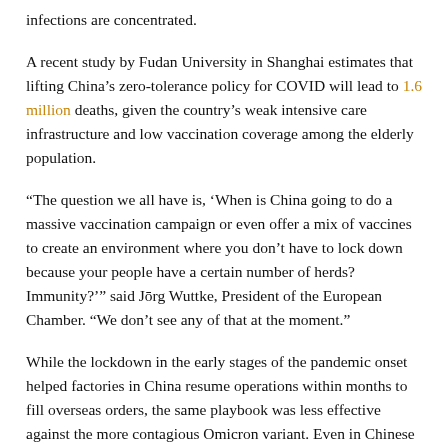infections are concentrated.
A recent study by Fudan University in Shanghai estimates that lifting China's zero-tolerance policy for COVID will lead to 1.6 million deaths, given the country's weak intensive care infrastructure and low vaccination coverage among the elderly population.
“The question we all have is, ‘When is China going to do a massive vaccination campaign or even offer a mix of vaccines to create an environment where you don’t have to lock down because your people have a certain number of herds? Immunity?’” said Jōrg Wuttke, President of the European Chamber. “We don’t see any of that at the moment.”
While the lockdown in the early stages of the pandemic onset helped factories in China resume operations within months to fill overseas orders, the same playbook was less effective against the more contagious Omicron variant. Even in Chinese cities